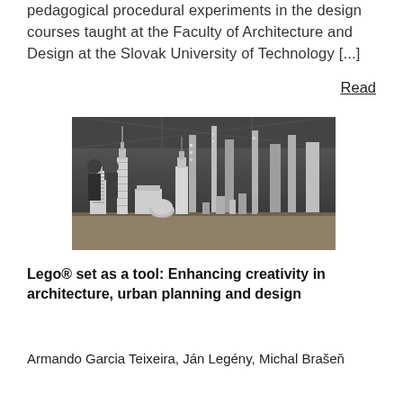pedagogical procedural experiments in the design courses taught at the Faculty of Architecture and Design at the Slovak University of Technology [...]
Read
[Figure (photo): Black and white photograph of LEGO architecture models displayed on a table, with people visible in the background inside a large hall.]
Lego® set as a tool: Enhancing creativity in architecture, urban planning and design
Armando Garcia Teixeira, Ján Legény, Michal Brašeň